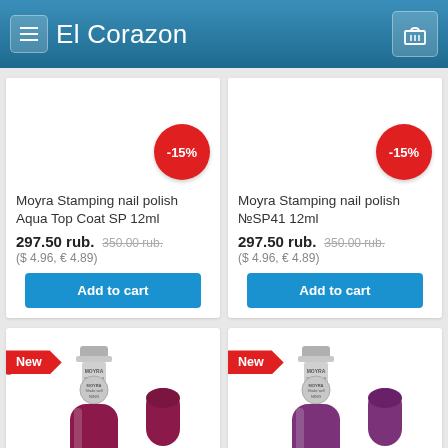El Corazon
[Figure (photo): Product listing card 1: Moyra Stamping nail polish Aqua Top Coat SP 12ml with -15% discount badge]
Moyra Stamping nail polish Aqua Top Coat SP 12ml
297.50 rub. 350.00 rub. ($ 4.96, € 4.89)
Add to cart
[Figure (photo): Product listing card 2: Moyra Stamping nail polish №SP41 12ml with -15% discount badge]
Moyra Stamping nail polish №SP41 12ml
297.50 rub. 350.00 rub. ($ 4.96, € 4.89)
Add to cart
[Figure (photo): Bottom product card 1: Moyra nail polish bottle (dark pink/wine color) with New badge]
[Figure (photo): Bottom product card 2: Moyra nail polish bottle (purple/violet color) with New badge]